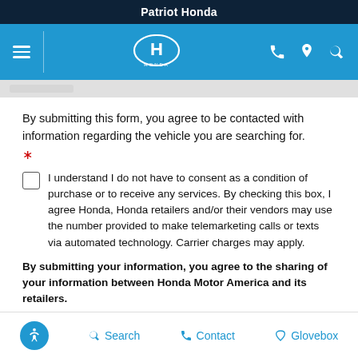Patriot Honda
By submitting this form, you agree to be contacted with information regarding the vehicle you are searching for.
*
I understand I do not have to consent as a condition of purchase or to receive any services. By checking this box, I agree Honda, Honda retailers and/or their vendors may use the number provided to make telemarketing calls or texts via automated technology. Carrier charges may apply.
By submitting your information, you agree to the sharing of your information between Honda Motor America and its retailers.
Search  Contact  Glovebox